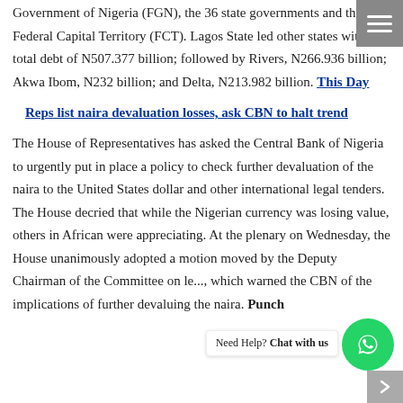Government of Nigeria (FGN), the 36 state governments and the Federal Capital Territory (FCT). Lagos State led other states with a total debt of N507.377 billion; followed by Rivers, N266.936 billion; Akwa Ibom, N232 billion; and Delta, N213.982 billion. This Day
Reps list naira devaluation losses, ask CBN to halt trend
The House of Representatives has asked the Central Bank of Nigeria to urgently put in place a policy to check further devaluation of the naira to the United States dollar and other international legal tenders. The House decried that while the Nigerian currency was losing value, others in African were appreciating. At the plenary on Wednesday, the House unanimously adopted a motion moved by the Deputy Chairman of the Committee on le..., which warned the CBN of the implications of further devaluing the naira. Punch